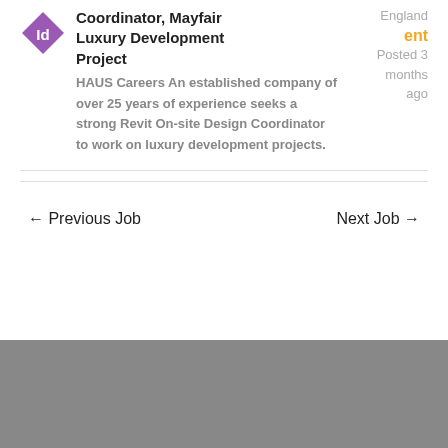[Figure (logo): Purple diamond-shaped logo with white 'Id' text]
Coordinator, Mayfair Luxury Development Project
England
ent
Posted 3 months ago
HAUS Careers  An established company of over 25 years of experience seeks a strong Revit On-site Design Coordinator to work on luxury development projects.
← Previous Job
Next Job →